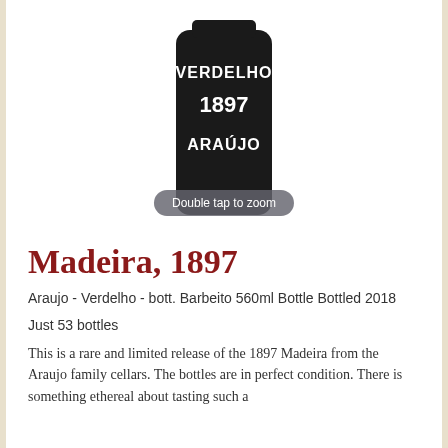[Figure (photo): A dark/black wine bottle showing label text VERDELHO 1897 ARAÚJO on a white background]
Madeira, 1897
Araujo - Verdelho - bott. Barbeito 560ml Bottle Bottled 2018
Just 53 bottles
This is a rare and limited release of the 1897 Madeira from the Araujo family cellars. The bottles are in perfect condition. There is something ethereal about tasting such a